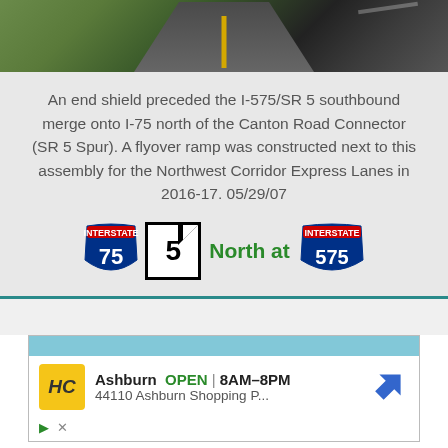[Figure (photo): Aerial or road-level photo of a highway with green grassy shoulders and asphalt road visible]
An end shield preceded the I-575/SR 5 southbound merge onto I-75 north of the Canton Road Connector (SR 5 Spur). A flyover ramp was constructed next to this assembly for the Northwest Corridor Express Lanes in 2016-17. 05/29/07
[Figure (infographic): Interstate 75 shield, SR 5 black-and-white end shield box, 'North at' text in green, and Interstate 575 shield]
[Figure (screenshot): Advertisement: HC logo, Ashburn OPEN 8AM-8PM, 44110 Ashburn Shopping P..., navigation arrow icon]